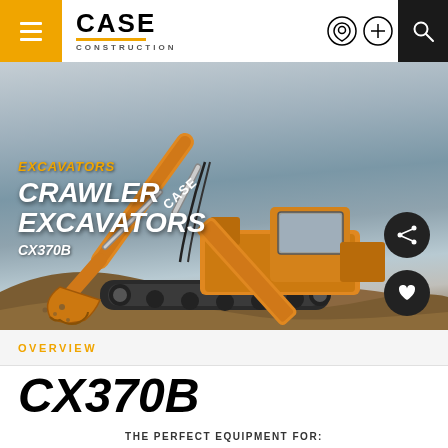CASE CONSTRUCTION
[Figure (photo): CASE CX370B crawler excavator operating on a construction site, shown digging with extended boom arm against a grey sky background. Orange excavator with CASE branding visible on the boom.]
EXCAVATORS
CRAWLER EXCAVATORS
CX370B
OVERVIEW
CX370B
THE PERFECT EQUIPMENT FOR: